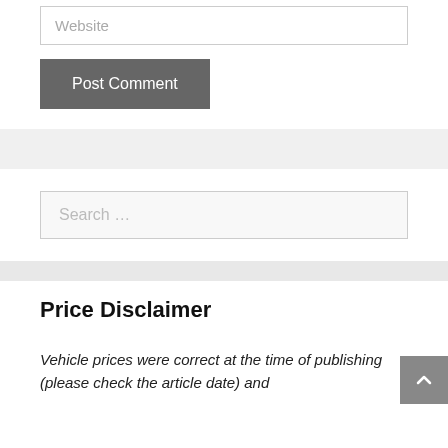Website
Post Comment
Search …
Price Disclaimer
Vehicle prices were correct at the time of publishing (please check the article date) and